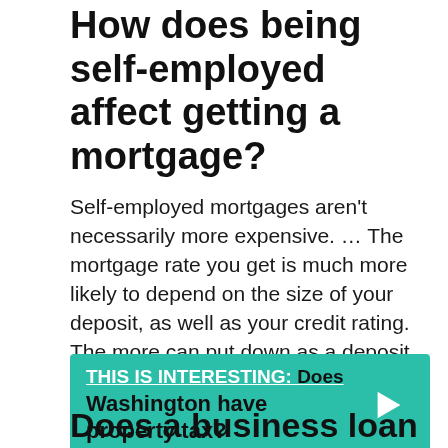How does being self-employed affect getting a mortgage?
Self-employed mortgages aren't necessarily more expensive. … The mortgage rate you get is much more likely to depend on the size of your deposit, as well as your credit rating. The more can put down as a deposit, and the higher your credit rating, the better your mortgage rate is likely to be.
THIS IS INTERESTING:  Does Washington have property tax?
Does a business loan affect